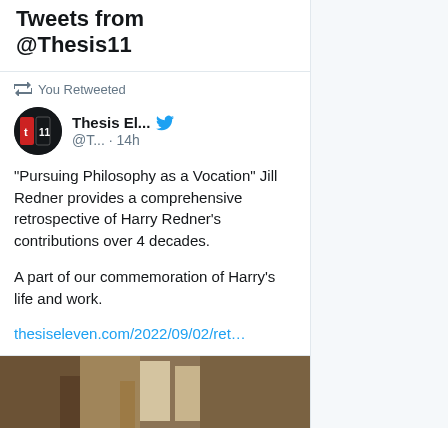Tweets from @Thesis11
You Retweeted
Thesis El... @T... · 14h
"Pursuing Philosophy as a Vocation" Jill Redner provides a comprehensive retrospective of Harry Redner's contributions over 4 decades.

A part of our commemoration of Harry's life and work.
thesiseleven.com/2022/09/02/ret…
[Figure (photo): Partial image preview at the bottom of the tweet card, brown/rustic tones]